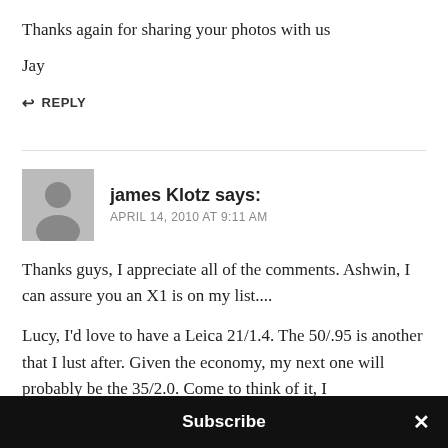Thanks again for sharing your photos with us
Jay
↩ REPLY
james Klotz says:
APRIL 14, 2010 AT 9:11 AM
Thanks guys, I appreciate all of the comments. Ashwin, I can assure you an X1 is on my list....
Lucy, I'd love to have a Leica 21/1.4. The 50/.95 is another that I lust after. Given the economy, my next one will probably be the 35/2.0. Come to think of it, I
Subscribe ×